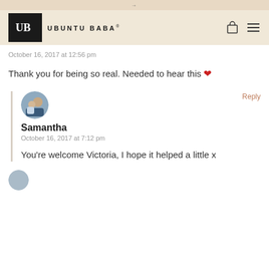Ubuntu Baba — navigation header
October 16, 2017 at 12:56 pm
Thank you for being so real. Needed to hear this ❤
[Figure (photo): Circular avatar photo of Samantha with a child]
Reply
Samantha
October 16, 2017 at 7:12 pm
You're welcome Victoria, I hope it helped a little x